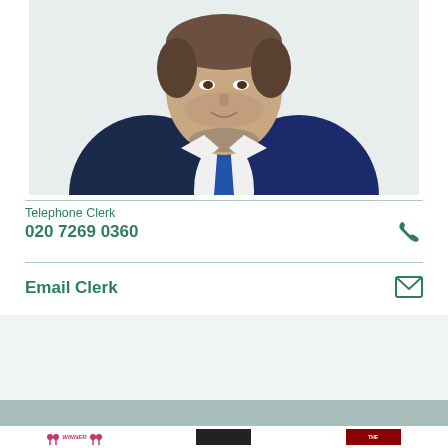[Figure (photo): Professional headshot of a man in a navy blue suit with a blue tie, white shirt, photographed against a white background]
Telephone Clerk
020 7269 0360
Email Clerk
[Figure (illustration): Bottom section with teal band and three award logos including WINNER badge, dark logo, and red logo]